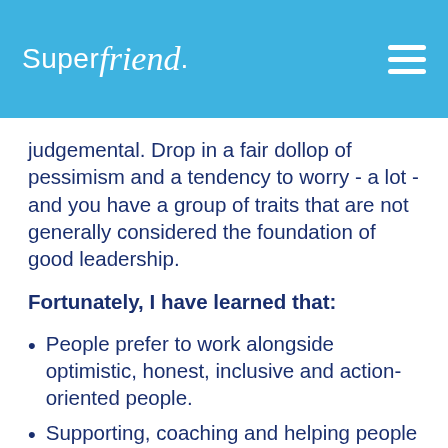SuperFriend
judgemental. Drop in a fair dollop of pessimism and a tendency to worry - a lot - and you have a group of traits that are not generally considered the foundation of good leadership.
Fortunately, I have learned that:
People prefer to work alongside optimistic, honest, inclusive and action-oriented people.
Supporting, coaching and helping people to use their strengths is confidence building and empowering